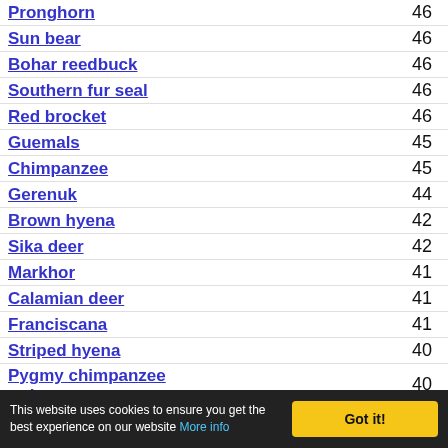Pronghorn 46
Sun bear 46
Bohar reedbuck 46
Southern fur seal 46
Red brocket 46
Guemals 45
Chimpanzee 45
Gerenuk 44
Brown hyena 42
Sika deer 42
Markhor 41
Calamian deer 41
Franciscana 41
Striped hyena 40
Pygmy chimpanzee or bonono 40
This website uses cookies to ensure you get the best experience on our website More info | Got it!